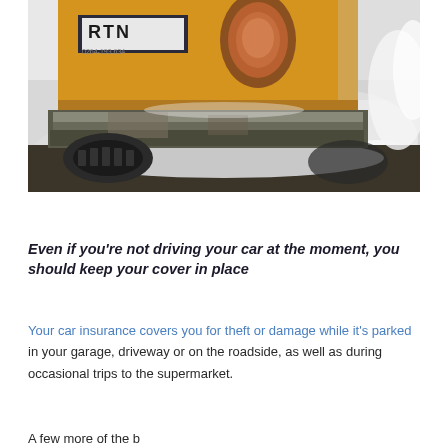[Figure (photo): Close-up rear view of a yellow/orange vintage Volkswagen Beetle car with a license plate reading 'RTN', parked in snow. The rear bumper shows wear and rust. Snow is visible around and below the car.]
Even if you're not driving your car at the moment, you should keep your cover in place
Your car insurance covers you for theft or damage while it's parked in your garage, driveway or on the roadside, as well as during occasional trips to the supermarket.